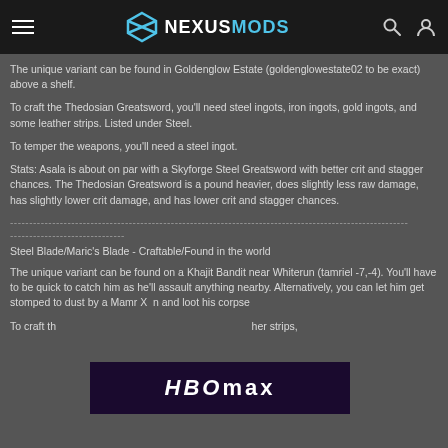NEXUSMODS
The unique variant can be found in Goldenglow Estate (goldenglowestate02 to be exact) above a shelf.
To craft the Thedosian Greatsword, you'll need steel ingots, iron ingots, gold ingots, and some leather strips. Listed under Steel.
To temper the weapons, you'll need a steel ingot.
Stats: Asala is about on par with a Skyforge Steel Greatsword with better crit and stagger chances. The Thedosian Greatsword is a pound heavier, does slightly less raw damage, has slightly lower crit damage, and has lower crit and stagger chances.
------------------------------------------------------------------------------------------------------
------------------------------
Steel Blade/Maric's Blade - Craftable/Found in the world
The unique variant can be found on a Khajit Bandit near Whiterun (tamriel -7,-4). You'll have to be quick to catch him as he'll assault anything nearby. Alternatively, you can let him get stomped to dust by a Mamr X n and loot his corpse
To craft th                                                                     her strips,